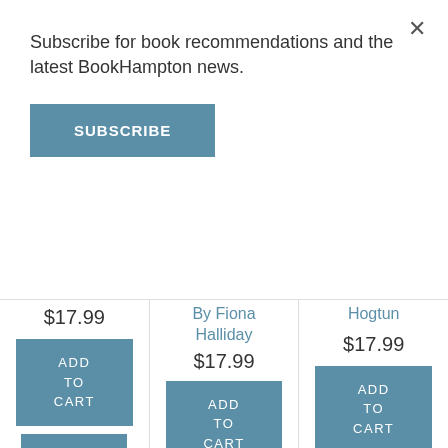Subscribe for book recommendations and the latest BookHampton news.
SUBSCRIBE
$17.99
ADD TO CART
ADD TO WISH LIST
On Our Shelves; Typically Ships in 1 - 2 Days
By Fiona Halliday
$17.99
ADD TO CART
ADD TO WISH LIST
Hogtun
$17.99
ADD TO CART
ADD TO WISH LIST
On Our Shelves;